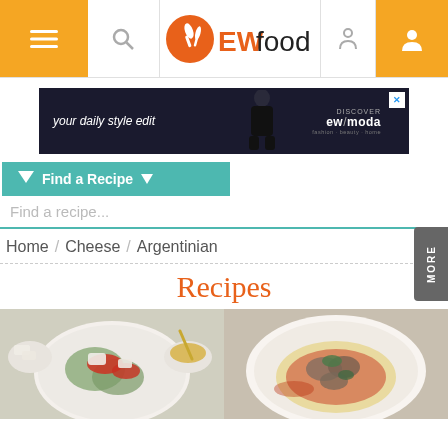EWfood navigation bar with menu, search, logo, cart, and user icons
[Figure (screenshot): Advertisement banner: 'your daily style edit' with a fashion figure and 'discover ew/moda' branding on dark background]
▼ Find a Recipe ▼
Find a recipe...
Home / Cheese / Argentinian
Recipes
[Figure (photo): Plate of salad with tomatoes, greens, white cheese and a bowl of dressing on a light background]
[Figure (photo): Plate with creamy polenta topped with mushrooms and herbs in a red sauce on white background]